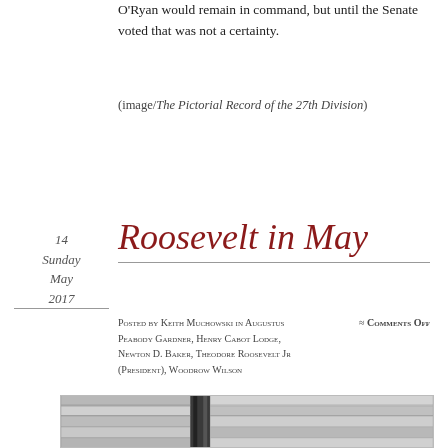O'Ryan would remain in command, but until the Senate voted that was not a certainty.
(image/The Pictorial Record of the 27th Division)
14 Sunday May 2017
Roosevelt in May
Posted by Keith Muchowski in Augustus Peabody Gardner, Henry Cabot Lodge, Newton D. Baker, Theodore Roosevelt Jr (President), Woodrow Wilson ≈ Comments Off
[Figure (photo): Grayscale photograph of a stone building facade with decorative architectural details and a vertical dark element (pipe or column)]